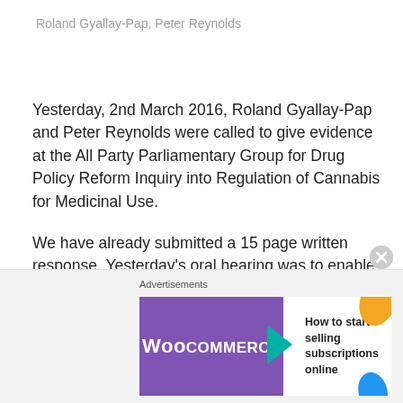Roland Gyallay-Pap, Peter Reynolds
Yesterday, 2nd March 2016, Roland Gyallay-Pap and Peter Reynolds were called to give evidence at the All Party Parliamentary Group for Drug Policy Reform Inquiry into Regulation of Cannabis for Medicinal Use.
We have already submitted a 15 page written response. Yesterday's oral hearing was to enable the inquiry to question us in more detail. We cannot publish our written response or go into great detail about yesterday's hearing until the inquiry has published its own report which is some weeks away yet.
[Figure (screenshot): Advertisement area with WooCommerce banner ad showing 'How to start selling subscriptions online' with purple WooCommerce logo and teal arrow, orange and blue decorative leaves.]